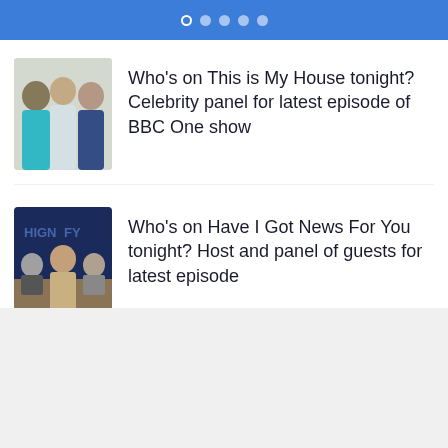• • • • •
[Figure (photo): Three people standing together — a Black woman in teal clothing, a man in white t-shirt and jeans, and a woman in dark outfit]
Who's on This is My House tonight? Celebrity panel for latest episode of BBC One show
[Figure (photo): Three people seated at a news desk — two men and a woman in a TV studio set with 'HIGNFY' signage]
Who's on Have I Got News For You tonight? Host and panel of guests for latest episode
just posted
[Figure (screenshot): Dropdown control with chevron/down arrow icon, and partial bottom bar with dots and a small thumbnail image]